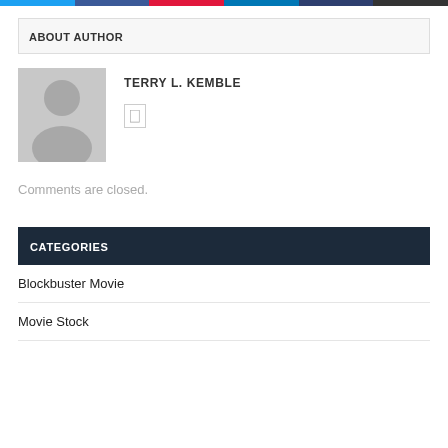[Figure (infographic): Social sharing bar with six colored segments: light blue, dark blue, red, steel blue, dark navy, dark gray]
ABOUT AUTHOR
[Figure (illustration): Generic gray avatar silhouette placeholder image]
TERRY L. KEMBLE
Comments are closed.
CATEGORIES
Blockbuster Movie
Movie Stock